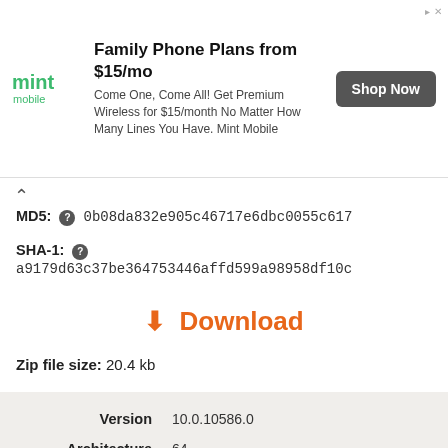[Figure (other): Mint Mobile advertisement banner: logo on left, ad text 'Family Phone Plans from $15/mo, Come One, Come All! Get Premium Wireless for $15/month No Matter How Many Lines You Have. Mint Mobile', and 'Shop Now' button on right.]
MD5: 0b08da832e905c46717e6dbc0055c617
SHA-1: a9179d63c37be364753446affd599a98958df10c
Download
Zip file size: 20.4 kb
| Field | Value |
| --- | --- |
| Version | 10.0.10586.0 |
| Architecture | 64 |
| File size | 83.5 kb |
| Language | U.S. English |
| Company | Microsoft Corporation |
| Description | Microsoft Internet Messaging API Resources |